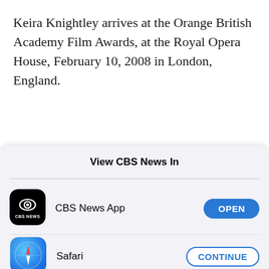Keira Knightley arrives at the Orange British Academy Film Awards, at the Royal Opera House, February 10, 2008 in London, England.
View CBS News In
[Figure (screenshot): CBS News App icon — black rounded square with CBS eye logo and CBS NEWS text below]
CBS News App
OPEN
[Figure (screenshot): Safari browser icon — blue circle with compass needle]
Safari
CONTINUE